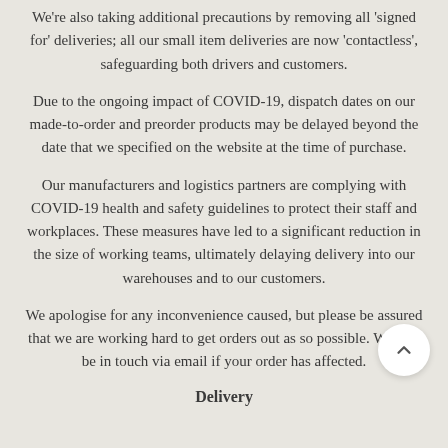We're also taking additional precautions by removing all 'signed for' deliveries; all our small item deliveries are now 'contactless', safeguarding both drivers and customers.
Due to the ongoing impact of COVID-19, dispatch dates on our made-to-order and preorder products may be delayed beyond the date that we specified on the website at the time of purchase.
Our manufacturers and logistics partners are complying with COVID-19 health and safety guidelines to protect their staff and workplaces. These measures have led to a significant reduction in the size of working teams, ultimately delaying delivery into our warehouses and to our customers.
We apologise for any inconvenience caused, but please be assured that we are working hard to get orders out as so possible. We will be in touch via email if your order has affected.
Delivery